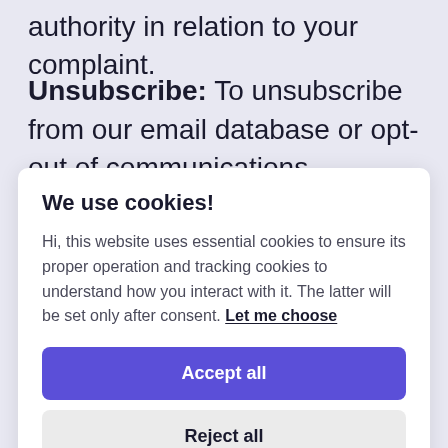authority in relation to your complaint.
Unsubscribe: To unsubscribe from our email database or opt-out of communications (including marketing communications), please
We use cookies!
Hi, this website uses essential cookies to ensure its proper operation and tracking cookies to understand how you interact with it. The latter will be set only after consent. Let me choose
Accept all
Reject all